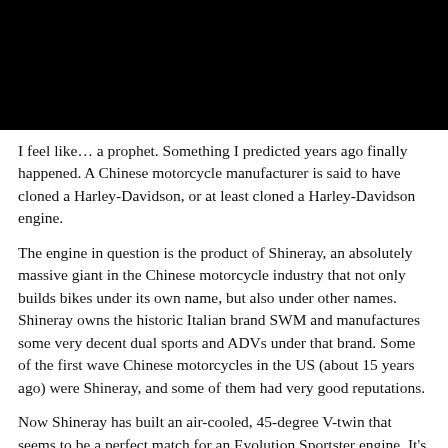[Figure (photo): Black photograph/image at the top of the page, fully black (content not visible)]
I feel like… a prophet. Something I predicted years ago finally happened. A Chinese motorcycle manufacturer is said to have cloned a Harley-Davidson, or at least cloned a Harley-Davidson engine.
The engine in question is the product of Shineray, an absolutely massive giant in the Chinese motorcycle industry that not only builds bikes under its own name, but also under other names. Shineray owns the historic Italian brand SWM and manufactures some very decent dual sports and ADVs under that brand. Some of the first wave Chinese motorcycles in the US (about 15 years ago) were Shineray, and some of them had very good reputations.
Now Shineray has built an air-cooled, 45-degree V-twin that seems to be a perfect match for an Evolution Sportster engine. It's not superficially identical, but all the right bits are in the right places, and it even has a pusher-operated top end, just like the old-school Sportster. It has a capacity of 1200cc, but all the right places,